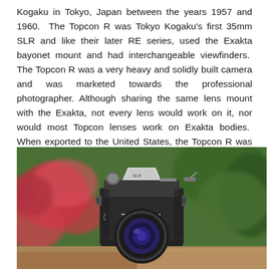Kogaku in Tokyo, Japan between the years 1957 and 1960. The Topcon R was Tokyo Kogaku's first 35mm SLR and like their later RE series, used the Exakta bayonet mount and had interchangeable viewfinders. The Topcon R was a very heavy and solidly built camera and was marketed towards the professional photographer. Although sharing the same lens mount with the Exakta, not every lens would work on it, nor would most Topcon lenses work on Exakta bodies. When exported to the United States, the Topcon R was sold as the Beseler-Topcon B.
[Figure (photo): A photograph of a Topcon 35mm SLR camera with a lens mounted, set against a blurred background of colorful flowers and green foliage.]